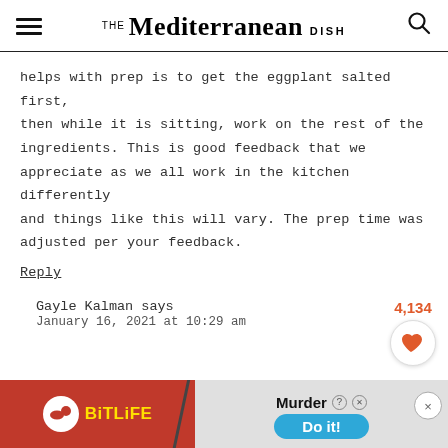THE Mediterranean DISH
helps with prep is to get the eggplant salted first, then while it is sitting, work on the rest of the ingredients. This is good feedback that we appreciate as we all work in the kitchen differently and things like this will vary. The prep time was adjusted per your feedback.
Reply
Gayle Kalman says
January 16, 2021 at 10:29 am
[Figure (other): BitLife advertisement banner with Murder Do it! call to action]